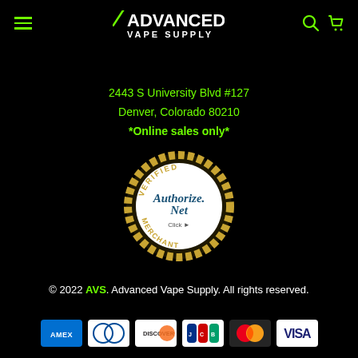Advanced Vape Supply - navigation header with hamburger menu, logo, search and cart icons
2443 S University Blvd #127
Denver, Colorado 80210
*Online sales only*
[Figure (logo): Authorize.Net Verified Merchant seal - gold circular badge with blue Authorize.Net text and Click arrow]
© 2022 AVS. Advanced Vape Supply. All rights reserved.
[Figure (illustration): Payment method icons: AMEX, Diners Club, Discover, JCB, Mastercard, Visa]